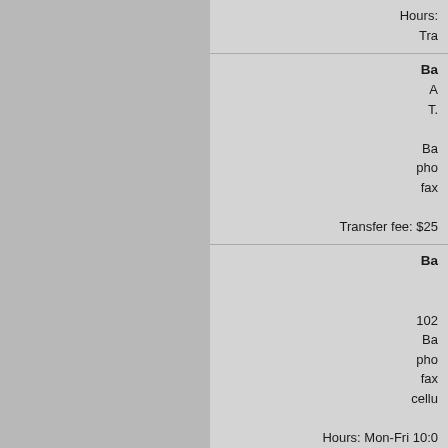Hours: Tra...
Ba...
A... T... Ba... pho... fax...
Transfer fee: $25...
Ba...
102... Ba... pho... fax... cellu...
Hours: Mon-Fri 10:0... Transfer f...
Bell...
N... Belleplain...